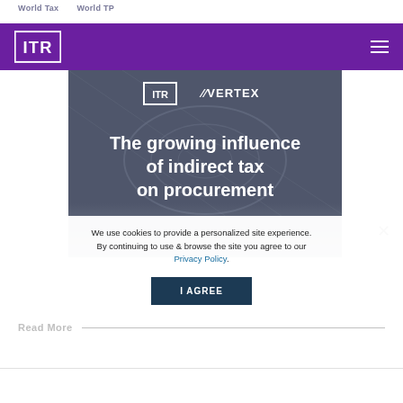World Tax   World TP
[Figure (logo): ITR logo in white on purple header bar with hamburger menu icon]
[Figure (photo): Hero banner with industrial background, ITR and VERTEX logos, and text: The growing influence of indirect tax on procurement]
We use cookies to provide a personalized site experience. By continuing to use & browse the site you agree to our Privacy Policy.
I AGREE
Read More